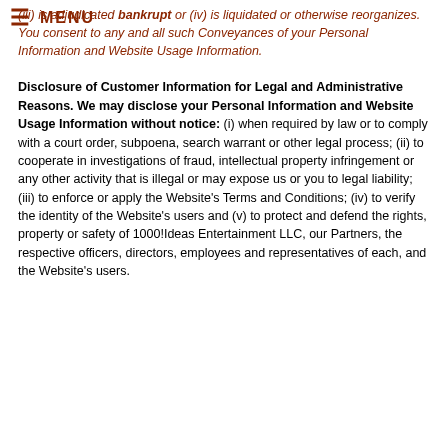(iii) is adjudicated bankrupt or (iv) is liquidated or otherwise reorganizes. You consent to any and all such Conveyances of your Personal Information and Website Usage Information.
Disclosure of Customer Information for Legal and Administrative Reasons. We may disclose your Personal Information and Website Usage Information without notice: (i) when required by law or to comply with a court order, subpoena, search warrant or other legal process; (ii) to cooperate in investigations of fraud, intellectual property infringement or any other activity that is illegal or may expose us or you to legal liability; (iii) to enforce or apply the Website's Terms and Conditions; (iv) to verify the identity of the Website's users and (v) to protect and defend the rights, property or safety of 1000!Ideas Entertainment LLC, our Partners, the respective officers, directors, employees and representatives of each, and the Website's users.